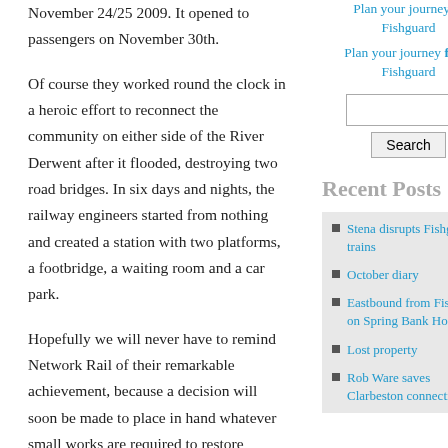November 24/25 2009. It opened to passengers on November 30th.
Of course they worked round the clock in a heroic effort to reconnect the community on either side of the River Derwent after it flooded, destroying two road bridges. In six days and nights, the railway engineers started from nothing and created a station with two platforms, a footbridge, a waiting room and a car park.
Hopefully we will never have to remind Network Rail of their remarkable achievement, because a decision will soon be made to place in hand whatever small works are required to restore Fishguard and Goodwick station for our use by September. We don't need a footbridge. There's only one platform. We'll stand in the
Plan your journey to Fishguard
Plan your journey from Fishguard
Recent Posts
Stena disrupts Fishguard trains
October diary
Eastbound from Fishguard on Spring Bank Holiday
Lost property
Rob Ware saves Clarbeston connection